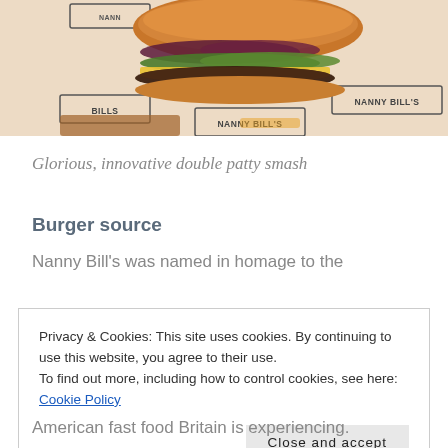[Figure (photo): Close-up photo of a double patty smash burger from Nanny Bill's, served on branded paper wrapping with 'NANNY BILL'S' printed repeatedly in rectangular borders. The burger shows layers of melted cheese, lettuce, and a well-seared beef patty on a brioche bun.]
Glorious, innovative double patty smash
Burger source
Nanny Bill's was named in homage to the
Privacy & Cookies: This site uses cookies. By continuing to use this website, you agree to their use.
To find out more, including how to control cookies, see here: Cookie Policy

Close and accept
American fast food Britain is experiencing.